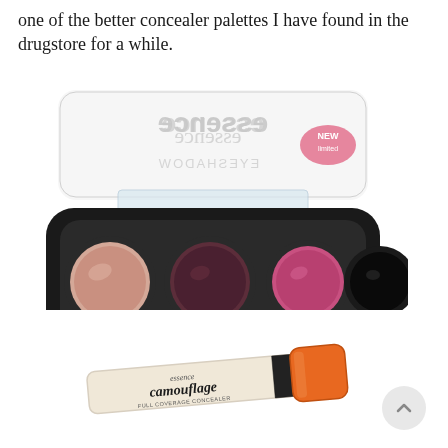one of the better concealer palettes I have found in the drugstore for a while.
[Figure (photo): Essence eyeshadow/makeup palette open showing four circular pans: light nude/pink, dark burgundy/mauve, bright pink/rose, and black. The palette lid is clear with mirrored essence branding text visible in reflection, including a pink 'NEW' badge.]
[Figure (photo): Essence Camouflage Full Coverage Concealer tube lying on white surface. The tube is cream/beige colored with black text reading 'essence camouflage FULL COVERAGE CONCEALER' and has an orange cap.]